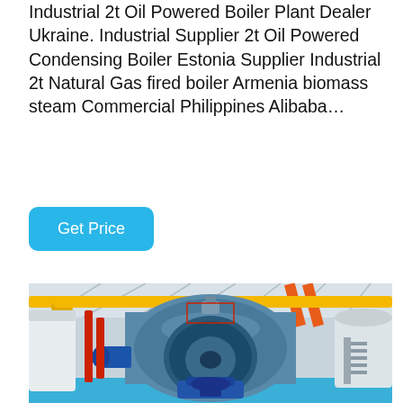Industrial 2t Oil Powered Boiler Plant Dealer Ukraine. Industrial Supplier 2t Oil Powered Condensing Boiler Estonia Supplier Industrial 2t Natural Gas fired boiler Armenia biomass steam Commercial Philippines Alibaba…
Get Price
[Figure (photo): Industrial boiler plant interior showing a large blue cylindrical boiler with Chinese characters on its face, blue burner assembly at the front, yellow overhead pipe structures, red vertical pipes on the left, orange striped diagonal pipe, white storage tanks on the sides, and metal staircase on the right. The floor is blue.]